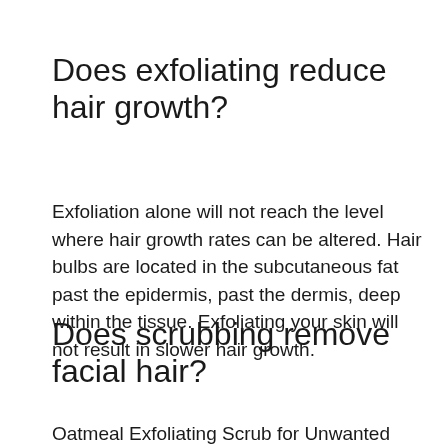Does exfoliating reduce hair growth?
Exfoliation alone will not reach the level where hair growth rates can be altered. Hair bulbs are located in the subcutaneous fat past the epidermis, past the dermis, deep within the tissue. Exfoliating your skin will not result in slower hair growth.
Does scrubbing remove facial hair?
Oatmeal Exfoliating Scrub for Unwanted Hair